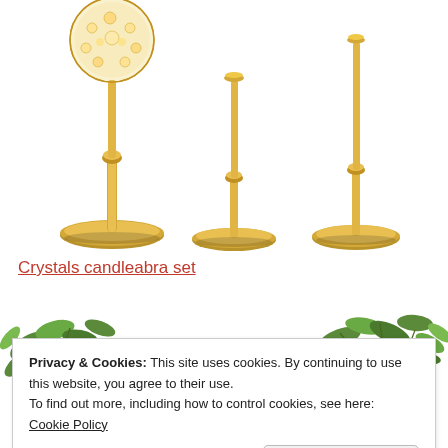[Figure (photo): Three gold metallic candelabra/candlestick holders of varying heights on white background. The tallest on the left has a crystal globe top. All have ornate gold bases.]
Crystals candleabra set
[Figure (photo): Partial photo of a decorative scene with green foliage/eucalyptus leaves and what appears to be a white sign with cursive text partially visible.]
Privacy & Cookies: This site uses cookies. By continuing to use this website, you agree to their use.
To find out more, including how to control cookies, see here:
Cookie Policy
Close and accept